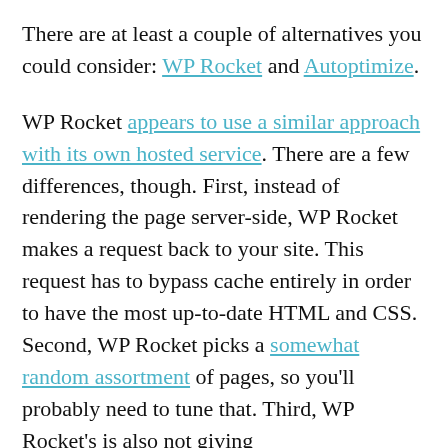There are at least a couple of alternatives you could consider: WP Rocket and Autoptimize.
WP Rocket appears to use a similar approach with its own hosted service. There are a few differences, though. First, instead of rendering the page server-side, WP Rocket makes a request back to your site. This request has to bypass cache entirely in order to have the most up-to-date HTML and CSS. Second, WP Rocket picks a somewhat random assortment of pages, so you'll probably need to tune that. Third, WP Rocket's is also not giving…